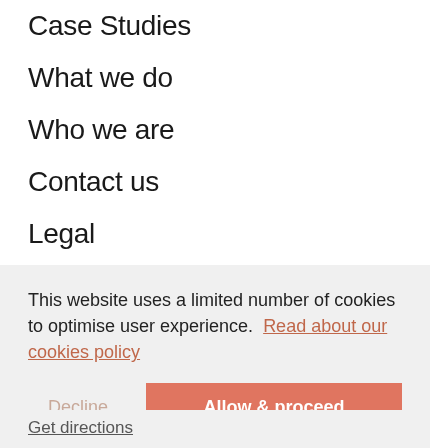Case Studies
What we do
Who we are
Contact us
Legal
HONG KONG
6/F, 12P Smithfield
This website uses a limited number of cookies to optimise user experience.  Read about our cookies policy
Decline
Allow & proceed
Get directions